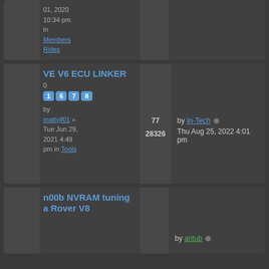01, 2020 10:34 pm in Members Rides
VE V6 ECU LINKER - pages 1 6 7 8, by mattyjf01 » Tue Jun 29, 2021 4:49 pm in Tools, 77 replies, 28326 views, last post by In-Tech Thu Aug 25, 2022 4:01 pm
n00b NVRAM tuning a Rover V8, by antub